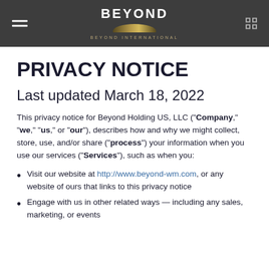Beyond International — navigation header
PRIVACY NOTICE
Last updated March 18, 2022
This privacy notice for Beyond Holding US, LLC ("Company," "we," "us," or "our"), describes how and why we might collect, store, use, and/or share ("process") your information when you use our services ("Services"), such as when you:
Visit our website at http://www.beyond-wm.com, or any website of ours that links to this privacy notice
Engage with us in other related ways — including any sales, marketing, or events